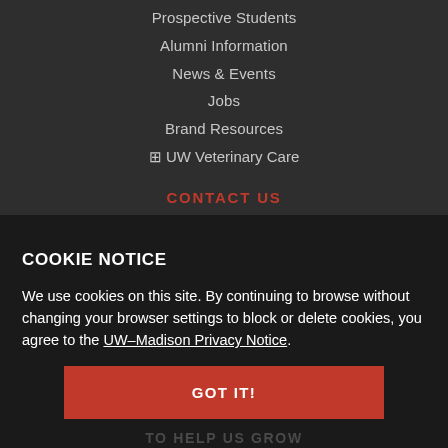Prospective Students
Alumni Information
News & Events
Jobs
Brand Resources
+ UW Veterinary Care
CONTACT US
2015 Linden Drive, Madison, WI 53706
COOKIE NOTICE
We use cookies on this site. By continuing to browse without changing your browser settings to block or delete cookies, you agree to the UW–Madison Privacy Notice.
GOT IT!